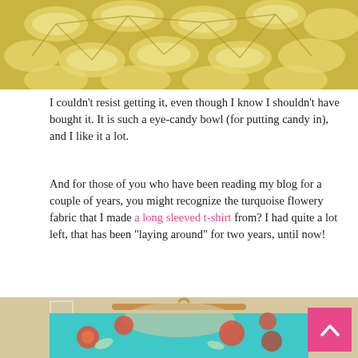[Figure (photo): Close-up photo of a yellow/gold crochet or lace-patterned bowl with oval cutout pattern.]
I couldn't resist getting it, even though I know I shouldn't have bought it. It is such a eye-candy bowl (for putting candy in), and I like it a lot.
And for those of you who have been reading my blog for a couple of years, you might recognize the turquoise flowery fabric that I made a long sleeved t-shirt from? I had quite a lot left, that has been "laying around" for two years, until now!
[Figure (photo): Photo of a turquoise fabric with red and orange floral pattern hanging on a wooden hanger, showing the neckline of a t-shirt.]